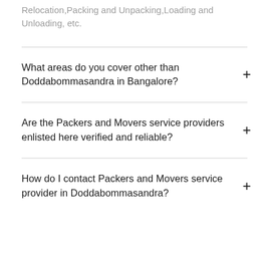Relocation,Packing and Unpacking,Loading and Unloading, etc.
What areas do you cover other than Doddabommasandra in Bangalore?
Are the Packers and Movers service providers enlisted here verified and reliable?
How do I contact Packers and Movers service provider in Doddabommasandra?